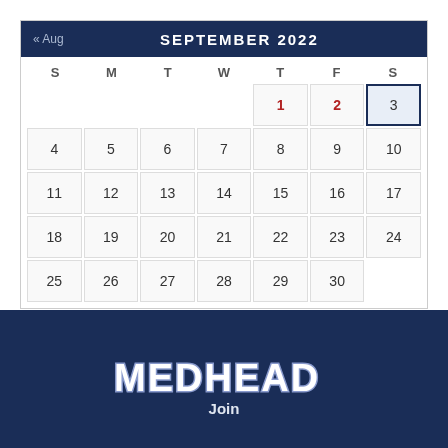| S | M | T | W | T | F | S |
| --- | --- | --- | --- | --- | --- | --- |
|  |  |  |  | 1 | 2 | 3 |
| 4 | 5 | 6 | 7 | 8 | 9 | 10 |
| 11 | 12 | 13 | 14 | 15 | 16 | 17 |
| 18 | 19 | 20 | 21 | 22 | 23 | 24 |
| 25 | 26 | 27 | 28 | 29 | 30 |  |
[Figure (other): MEDHEAD logo in white collegiate font on dark navy background]
Join